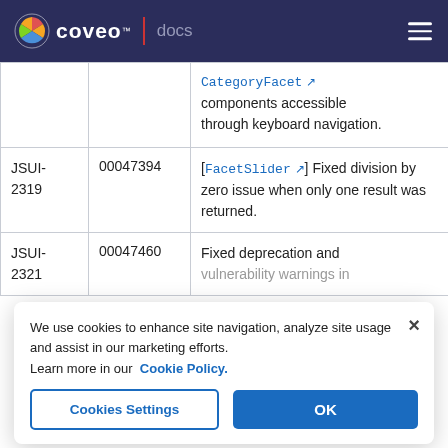coveo™ | docs
|  |  |  |
| --- | --- | --- |
|  |  | CategoryFacet [↗] components accessible through keyboard navigation. |
| JSUI-2319 | 00047394 | [FacetSlider ↗] Fixed division by zero issue when only one result was returned. |
| JSUI-2321 | 00047460 | Fixed deprecation and vulnerability warnings in additionalFilter [↗] |
We use cookies to enhance site navigation, analyze site usage and assist in our marketing efforts.
Learn more in our Cookie Policy.
Cookies Settings  OK